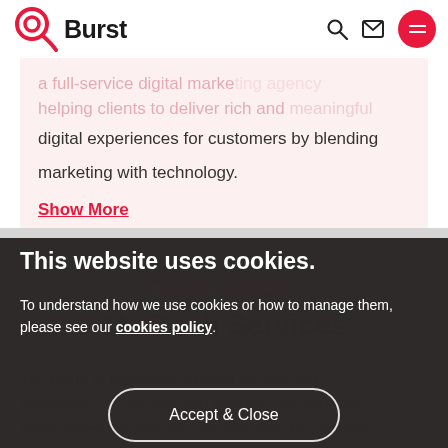[Figure (logo): QBurst logo with red Q icon and black Burst text]
a full-service digital marketing agency helping clients to deliver rich and meaningful digital experiences for customers by blending marketing with technology.
Show More
This website uses cookies.
To understand how we use cookies or how to manage them, please see our cookies policy.
DRIVING GROWTH
MarTech Services
Accept & Close
The future of marketing is fueled by data and technology. We will help you leverage the marketing technologies that will help you use your data to make